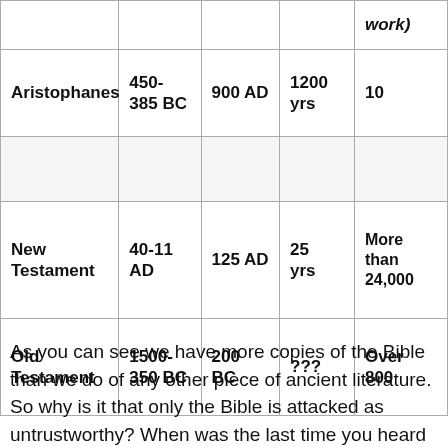|  |  |  |  | # of copies (work) |
| --- | --- | --- | --- | --- |
| Aristophanes | 450-385 BC | 900 AD | 1200 yrs | 10 |
|  |  |  |  |  |
| New Testament | 40-11 AD | 125 AD | 25 yrs | More than 24,000 |
| Old Testament | 1500-350 BC | 200 BC | ??? | Over 800 |
As you can see we have more copies of the Bible than we do of any other piece of ancient literature. So why is it that only the Bible is attacked as untrustworthy? When was the last time you heard someone say that Caesar or